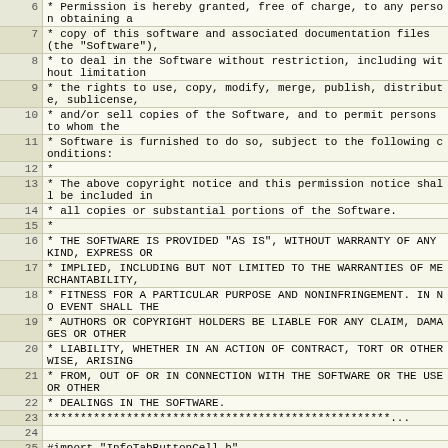| line | code |
| --- | --- |
| 6 |  * Permission is hereby granted, free of charge, to any person obtaining a |
| 7 |  * copy of this software and associated documentation files (the "Software"), |
| 8 |  * to deal in the Software without restriction, including without limitation |
| 9 |  * the rights to use, copy, modify, merge, publish, distribute, sublicense, |
| 10 |  * and/or sell copies of the Software, and to permit persons to whom the |
| 11 |  * Software is furnished to do so, subject to the following conditions: |
| 12 |  * |
| 13 |  * The above copyright notice and this permission notice shall be included in |
| 14 |  * all copies or substantial portions of the Software. |
| 15 |  * |
| 16 |  * THE SOFTWARE IS PROVIDED "AS IS", WITHOUT WARRANTY OF ANY KIND, EXPRESS OR |
| 17 |  * IMPLIED, INCLUDING BUT NOT LIMITED TO THE WARRANTIES OF MERCHANTABILITY, |
| 18 |  * FITNESS FOR A PARTICULAR PURPOSE AND NONINFRINGEMENT. IN NO EVENT SHALL THE |
| 19 |  * AUTHORS OR COPYRIGHT HOLDERS BE LIABLE FOR ANY CLAIM, DAMAGES OR OTHER |
| 20 |  * LIABILITY, WHETHER IN AN ACTION OF CONTRACT, TORT OR OTHERWISE, ARISING |
| 21 |  * FROM, OUT OF OR IN CONNECTION WITH THE SOFTWARE OR THE USE OR OTHER |
| 22 |  * DEALINGS IN THE SOFTWARE. |
| 23 |  ****************************************************... |
| 24 |  |
| 25 | #import "InfoTabButtonCell.h" |
| 26 |  |